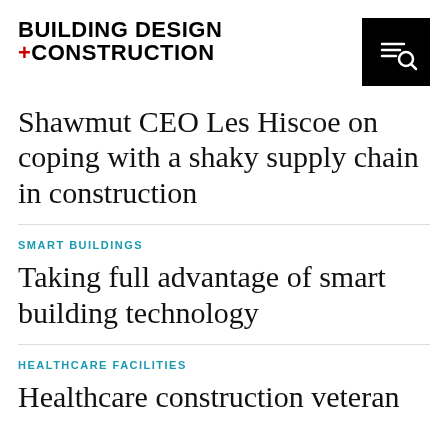BUILDING DESIGN +CONSTRUCTION
Shawmut CEO Les Hiscoe on coping with a shaky supply chain in construction
SMART BUILDINGS
Taking full advantage of smart building technology
HEALTHCARE FACILITIES
Healthcare construction veteran